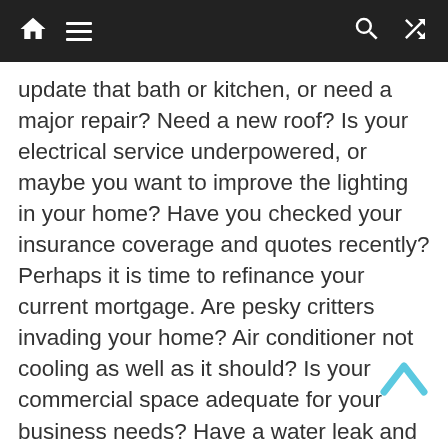[Navigation bar with home, menu, search, shuffle icons]
update that bath or kitchen, or need a major repair? Need a new roof? Is your electrical service underpowered, or maybe you want to improve the lighting in your home? Have you checked your insurance coverage and quotes recently? Perhaps it is time to refinance your current mortgage. Are pesky critters invading your home? Air conditioner not cooling as well as it should? Is your commercial space adequate for your business needs? Have a water leak and not sure where to turn for insurance advice? Maybe that insurance claim was denied and you need to turn to an attorney… Look no further than The Real Estate Power Team!
Click on any of the following people's names to be